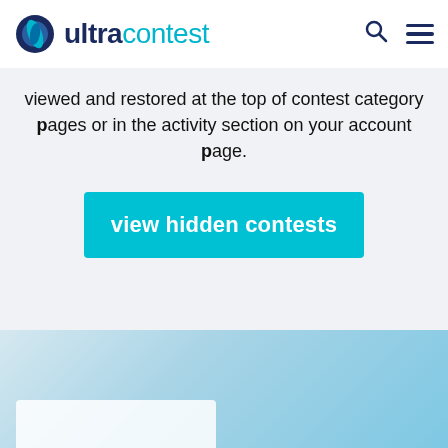ultracontest
viewed and restored at the top of contest category pages or in the activity section on your account page.
view hidden contests
[Figure (other): Light blue gradient background section at the bottom of the page with a white card partially visible]